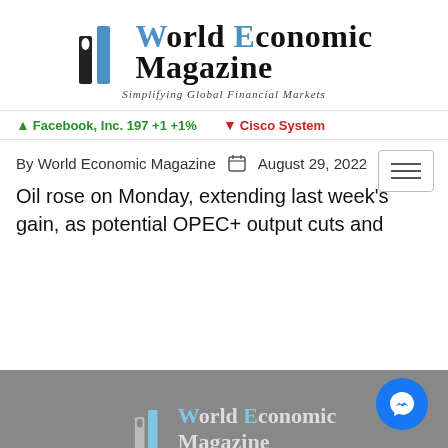[Figure (logo): World Economic Magazine logo with stylized blue and black bar chart icon and serif text]
Facebook, Inc. 197 +1 +1%   ↓Cisco System
By World Economic Magazine   August 29, 2022
Oil rose on Monday, extending last week's gain, as potential OPEC+ output cuts and
[Figure (logo): World Economic Magazine logo repeated in footer on grey background]